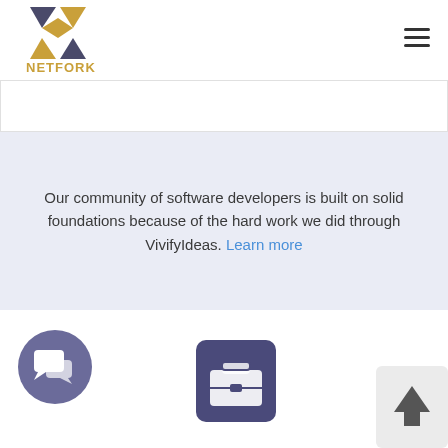[Figure (logo): Netfork logo with stylized X in gold/dark colors and text NETFORK below]
[Figure (other): Hamburger menu icon (three horizontal lines)]
[Figure (other): White banner strip below header]
Our community of software developers is built on solid foundations because of the hard work we did through VivifyIdeas. Learn more
[Figure (other): Chat bubble icon in purple circle]
[Figure (other): Briefcase icon on dark purple rounded rectangle]
[Figure (other): Up arrow on light gray rounded rectangle (scroll to top)]